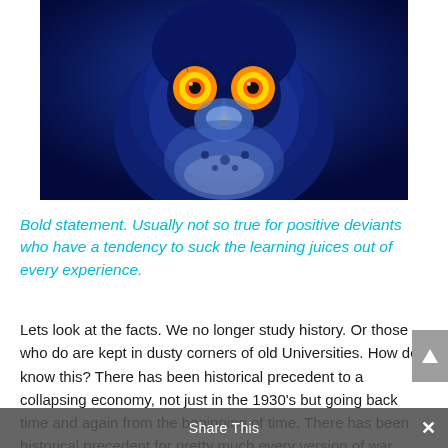[Figure (photo): Close-up front-facing photo of an owl with vivid blue and dark tones, glowing yellow-orange eyes against a deep blue background]
Bold statement. Usually not so true for positive deviants who have a tendency to suck the learning juices out of every experience.
Lets look at the facts. We no longer study history. Or those who do are kept in dusty corners of old Universities. How do I know this? There has been historical precedent to a collapsing economy, not just in the 1930’s but going back time and again from the beginning of time. There has been historical precedent for pretty much every version of war, going back to when man first sneezed. If we look at climate
Share This